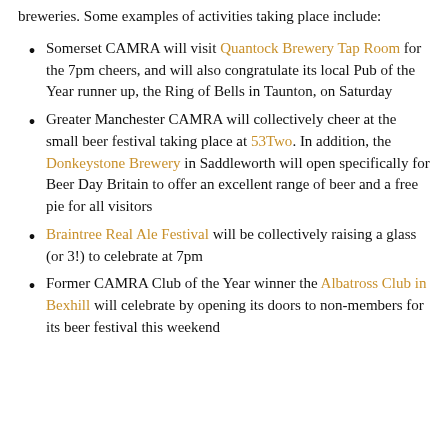breweries. Some examples of activities taking place include:
Somerset CAMRA will visit Quantock Brewery Tap Room for the 7pm cheers, and will also congratulate its local Pub of the Year runner up, the Ring of Bells in Taunton, on Saturday
Greater Manchester CAMRA will collectively cheer at the small beer festival taking place at 53Two. In addition, the Donkeystone Brewery in Saddleworth will open specifically for Beer Day Britain to offer an excellent range of beer and a free pie for all visitors
Braintree Real Ale Festival will be collectively raising a glass (or 3!) to celebrate at 7pm
Former CAMRA Club of the Year winner the Albatross Club in Bexhill will celebrate by opening its doors to non-members for its beer festival this weekend